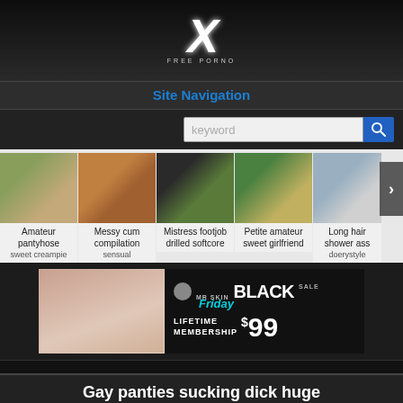[Figure (logo): X Free Porno logo with large stylized X and text FREE PORNO below]
Site Navigation
[Figure (screenshot): Search bar with keyword placeholder and blue search icon]
[Figure (screenshot): Video thumbnail strip showing: Amateur pantyhose, Messy cum compilation, Mistress footjob drilled softcore, Petite amateur sweet girlfriend, Long hair shower ass, with next arrow]
[Figure (infographic): Mr Skin Black Friday Sale advertisement - Lifetime Membership $99]
Gay panties sucking dick huge